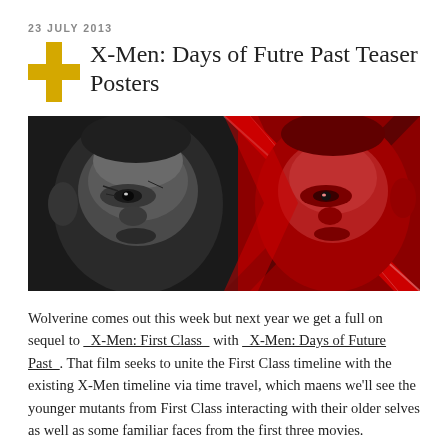23 JULY 2013
X-Men: Days of Futre Past Teaser Posters
[Figure (photo): Movie teaser poster split image: left half black-and-white close-up of an older man's face (Wolverine/Professor X), right half red-tinted close-up of a younger man's face, divided by an X-shaped diagonal cut.]
Wolverine comes out this week but next year we get a full on sequel to _X-Men: First Class_ with _X-Men: Days of Future Past_. That film seeks to unite the First Class timeline with the existing X-Men timeline via time travel, which maens we'll see the younger mutants from First Class interacting with their older selves as well as some familiar faces from the first three movies.